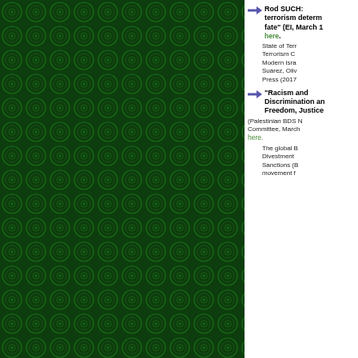[Figure (illustration): Dark green patterned background with circular/mandala-like repeating motifs filling the left portion of the page]
Rod SUCH: terrorism determines fate" (EI, March 1... here.
State of Terrorism C... Modern Israel Suárez, Oliv... Press (2017...
"Racism and Discrimination and Freedom, Justice... (Palestinian BDS N... Committee, March... here.
The global B... Divestment Sanctions (B... movement f...